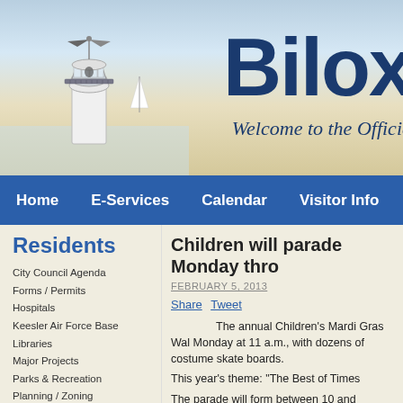[Figure (screenshot): Biloxi city website header banner showing a lighthouse with weather vane against a coastal sky background, with 'Bilox' text (partially visible) in bold dark blue and 'Welcome to the Officia' italic subtitle]
Home  E-Services  Calendar  Visitor Info  C
Residents
City Council Agenda
Forms / Permits
Hospitals
Keesler Air Force Base
Libraries
Major Projects
Parks & Recreation
Planning / Zoning
Public Education
Children will parade Monday thro
FEBRUARY 5, 2013
Share  Tweet
The annual Children's Mardi Gras Wal Monday at 11 a.m., with dozens of costume skate boards.
This year's theme: “The Best of Times
The parade will form between 10 and immediately north of the Saenger Thea